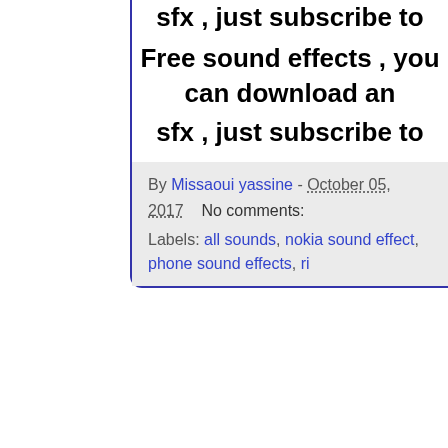sfx , just subscribe to
Free sound effects , you can download an
sfx , just subscribe to
By Missaoui yassine - October 05, 2017    No comments:
Labels: all sounds, nokia sound effect, phone sound effects, ri...
Cell Phone Ring 11 sound effect down
Cell Phone Ring